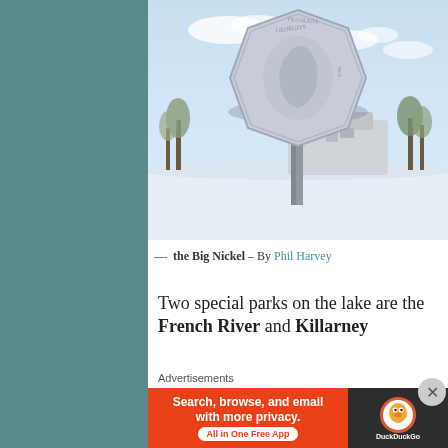[Figure (photo): Winter photograph of the Big Nickel monument — a giant ten-cent coin on a metal pole — in Sudbury, Ontario, with a modern building in the background and snow on the ground.]
— the Big Nickel – By Phil Harvey
Two special parks on the lake are the French River and Killarney
Advertisements
[Figure (screenshot): DuckDuckGo advertisement banner: orange left panel reading 'Search, browse, and email with more privacy. All in One Free App' and dark right panel with DuckDuckGo logo.]